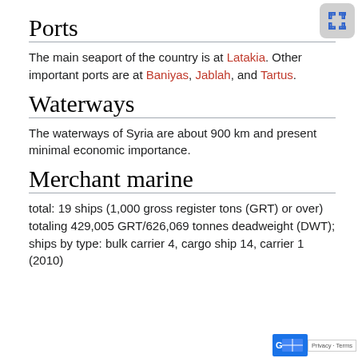Ports
The main seaport of the country is at Latakia. Other important ports are at Baniyas, Jablah, and Tartus.
Waterways
The waterways of Syria are about 900 km and present minimal economic importance.
Merchant marine
total: 19 ships (1,000 gross register tons (GRT) or over) totaling 429,005 GRT/626,069 tonnes deadweight (DWT); ships by type: bulk carrier 4, cargo ship 14, carrier 1 (2010)